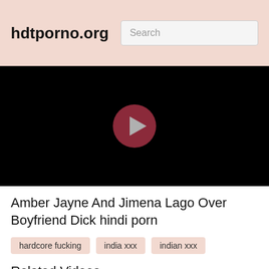hdtporno.org
[Figure (screenshot): Black video player with a dark red circular play button in the center]
Amber Jayne And Jimena Lago Over Boyfriend Dick hindi porn
hardcore fucking
india xxx
indian xxx
Related Videos